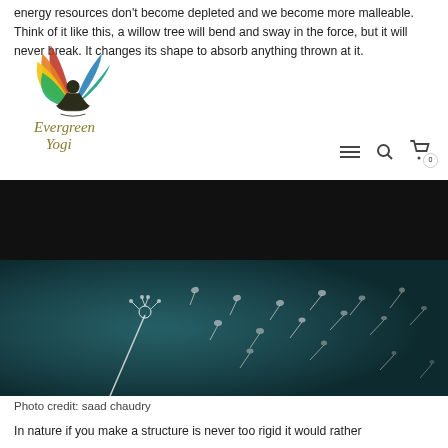energy resources don't become depleted and we become more malleable. Think of it like this, a willow tree will bend and sway in the force, but it will never break. It changes its shape to absorb anything thrown at it.
[Figure (logo): Evergreen Yogi logo: colorful fan-shaped petals with a meditating figure silhouette and stylized italic text 'Evergreen Yogi']
[Figure (photo): Close-up photo of a dandelion with seeds blowing away against a teal/dark blue background. Photo credit: saad chaudry]
Photo credit: saad chaudry
In nature if you make a structure is never too rigid it would rather